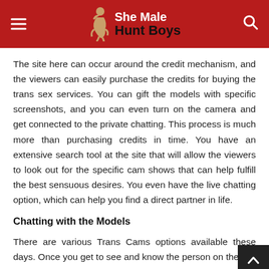She Male Hunt Boys
The site here can occur around the credit mechanism, and the viewers can easily purchase the credits for buying the trans sex services. You can gift the models with specific screenshots, and you can even turn on the camera and get connected to the private chatting. This process is much more than purchasing credits in time. You have an extensive search tool at the site that will allow the viewers to look out for the specific cam shows that can help fulfill the best sensuous desires. You even have the live chatting option, which can help you find a direct partner in life.
Chatting with the Models
There are various Trans Cams options available these days. Once you get to see and know the person on the